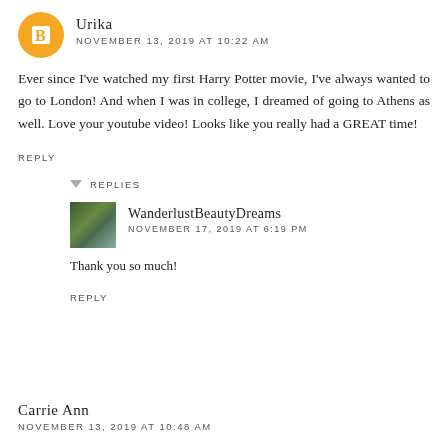[Figure (illustration): Orange circular avatar with white blogger 'B' icon]
Urika
NOVEMBER 13, 2019 AT 10:22 AM
Ever since I've watched my first Harry Potter movie, I've always wanted to go to London! And when I was in college, I dreamed of going to Athens as well. Love your youtube video! Looks like you really had a GREAT time!
REPLY
REPLIES
[Figure (photo): Profile photo of WanderlustBeautyDreams, a person with green/nature background]
WanderlustBeautyDreams
NOVEMBER 17, 2019 AT 6:19 PM
Thank you so much!
REPLY
Carrie Ann
NOVEMBER 13, 2019 AT 10:48 AM